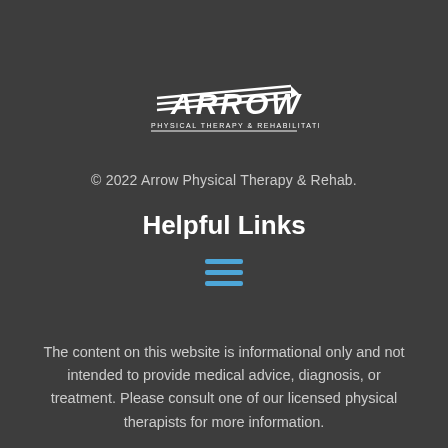[Figure (logo): Arrow Physical Therapy & Rehabilitation LLC logo — white stylized arrow with 'ARROW' text and 'PHYSICAL THERAPY & REHABILITATION LLC ®' below]
© 2022 Arrow Physical Therapy & Rehab.
Helpful Links
[Figure (other): Hamburger/menu icon — three horizontal blue lines]
The content on this website is informational only and not intended to provide medical advice, diagnosis, or treatment. Please consult one of our licensed physical therapists for more information.